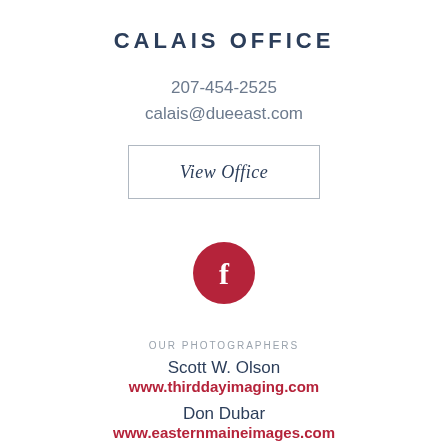CALAIS OFFICE
207-454-2525
calais@dueeast.com
View Office
[Figure (logo): Facebook icon — dark red/crimson circle with white lowercase 'f' letter inside]
OUR PHOTOGRAPHERS
Scott W. Olson
www.thirddayimaging.com
Don Dubar
www.easternmaineimages.com